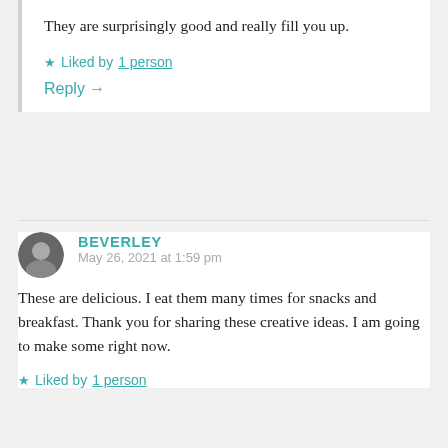They are surprisingly good and really fill you up.
★ Liked by 1 person
Reply →
BEVERLEY
May 26, 2021 at 1:59 pm
These are delicious. I eat them many times for snacks and breakfast. Thank you for sharing these creative ideas. I am going to make some right now.
★ Liked by 1 person